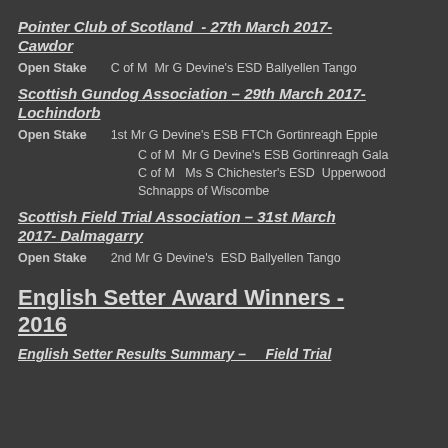Pointer Club of Scotland - 27th March 2017- Cawdor
Open Stake    C of M  Mr G Devine's ESD Ballyellen Tango
Scottish Gundog Association – 29th March 2017- Lochindorb
Open Stake    1st Mr G Devine's ESB FTCh Gortinreagh Eppie
C of M  Mr G Devine's ESB Gortinreagh Gala
C of M  Ms S Chichester's ESD  Upperwood Schnapps of Wiscombe
Scottish Field Trial Association – 31st March 2017- Dalmagarry
Open Stake    2nd Mr G Devine's  ESD Ballyellen Tango
English Setter Award Winners - 2016
English Setter Results Summary - Field Trials